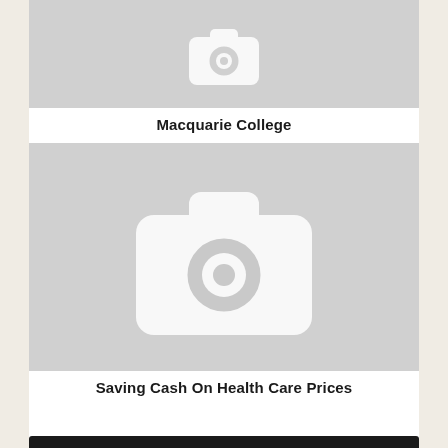[Figure (photo): Placeholder image with camera icon, partially visible at top]
Macquarie College
[Figure (photo): Placeholder image with camera icon for second article]
Saving Cash On Health Care Prices